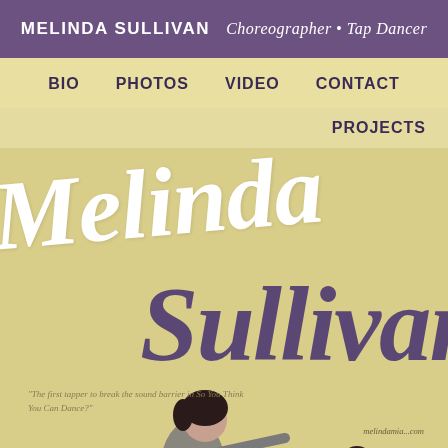MELINDA SULLIVAN  Choreographer • Tap Dancer
BIO  PHOTOS  VIDEO  CONTACT
PROJECTS
Melinda
Sullivan
The first tapper to break the sound barrier in So You Think You Can Dance?
[Figure (photo): Two images of Melinda Sullivan dancing: a larger main photo of her leaping with arms extended in a sparkly jacket, and a smaller photo of her with hair flying]
melindamia...com